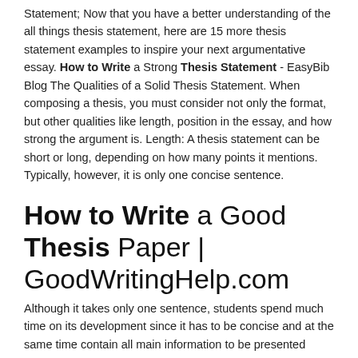Statement; Now that you have a better understanding of the all things thesis statement, here are 15 more thesis statement examples to inspire your next argumentative essay. How to Write a Strong Thesis Statement - EasyBib Blog The Qualities of a Solid Thesis Statement. When composing a thesis, you must consider not only the format, but other qualities like length, position in the essay, and how strong the argument is. Length: A thesis statement can be short or long, depending on how many points it mentions. Typically, however, it is only one concise sentence.
How to Write a Good Thesis Paper | GoodWritingHelp.com
Although it takes only one sentence, students spend much time on its development since it has to be concise and at the same time contain all main information to be presented